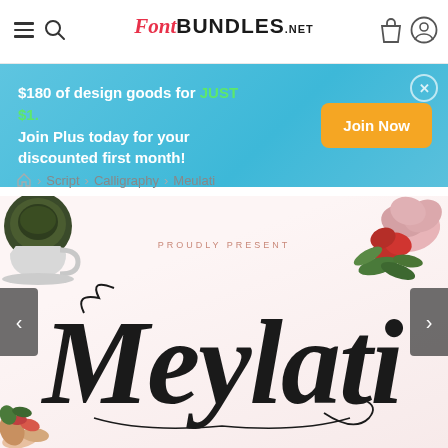FontBundles.net
$180 of design goods for JUST $1. Join Plus today for your discounted first month!
Join Now
Home > Script > Calligraphy > Meulati
[Figure (screenshot): Font product page showing Meulati calligraphy script font preview with decorative flowers and coffee cup, text reading PROUDLY PRESENT and Meylati in large calligraphic script]